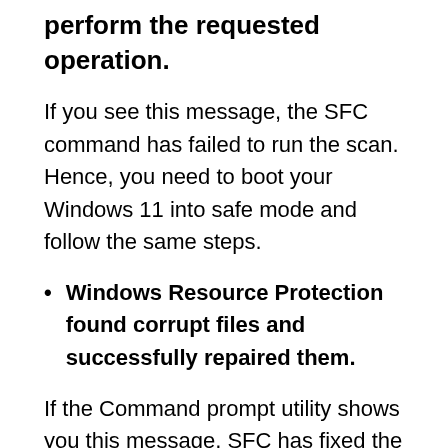perform the requested operation.
If you see this message, the SFC command has failed to run the scan. Hence, you need to boot your Windows 11 into safe mode and follow the same steps.
Windows Resource Protection found corrupt files and successfully repaired them.
If the Command prompt utility shows you this message, SFC has fixed the corrupted system files.